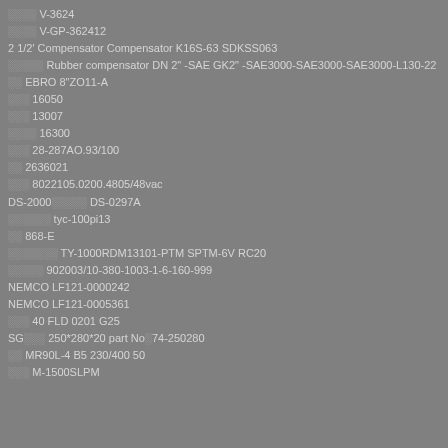░░░░ V-3624
░░░░ V-GP-362412
2 1/2' Compensator Compensator K16S-63 SDKSS063
░░░░░ Rubber compensator DN 2" -SAE GK2" -SAE3000-SAE3000-SAE3000-L130-22
░░ EBRO 8"ZO11-A
░░░ 16050
░░░ 13007
░░░░ 16300
░░░ 28-287AO.93/100
░░ 2636021
░░░ 8022105.0200.4805/48vac
DS-2000░░░░░ DS-0297A
░░░░░░ tyc-100pi13
░░ 868-E
░░░░░░░ TY-1000RDM13101-PTM SPTM-6V RC20
░░░░░ 902003/10-380-1003-1-6-160-999
NEMCO LF121-0000242
NEMCO LF121-0005361
░░░ 40 FLD 0201 G25
SG░░░ 250*280*20 part No░74-250280
░░ MR90L-4 B5 230/400 50
░░░ M-1500SLPM